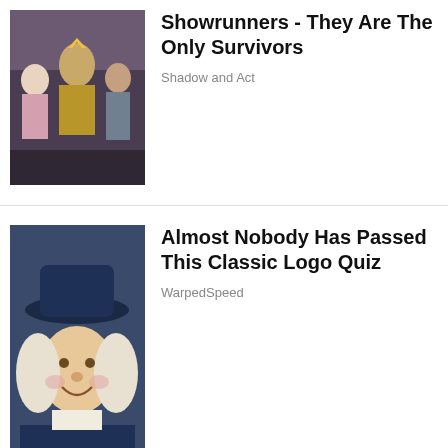[Figure (photo): Theatre/fantasy scene with costumed figures including ornate throne and medieval-style costumes]
Showrunners - They Are The Only Survivors
Shadow and Act
[Figure (illustration): Illustrated character resembling the Quaker Oats man with white wig, navy coat, and white cravat, smiling]
Almost Nobody Has Passed This Classic Logo Quiz
WarpedSpeed
[Figure (logo): Picture Mushroom app icon showing a red mushroom with white spots inside a red dashed square border]
sponsored by Picture Mushroom
Privacy & Cookies: This site uses cookies. By continuing to use this website, you agree to their use.
To find out more, including how to control cookies, see here: Cookie Policy
Close and accept